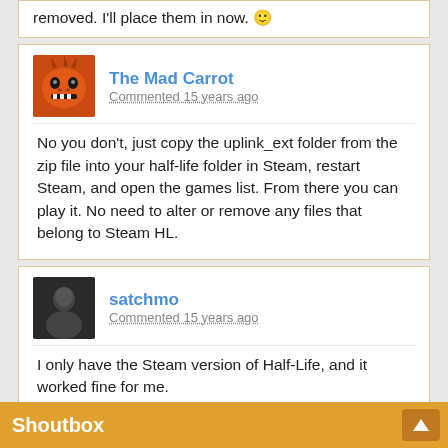removed. I'll place them in now. 🙂
The Mad Carrot
Commented 15 years ago
No you don't, just copy the uplink_ext folder from the zip file into your half-life folder in Steam, restart Steam, and open the games list. From there you can play it. No need to alter or remove any files that belong to Steam HL.
satchmo
Commented 15 years ago
I only have the Steam version of Half-Life, and it worked fine for me.

I did what Muzzle said above, and there's no problem.
Shoutbox